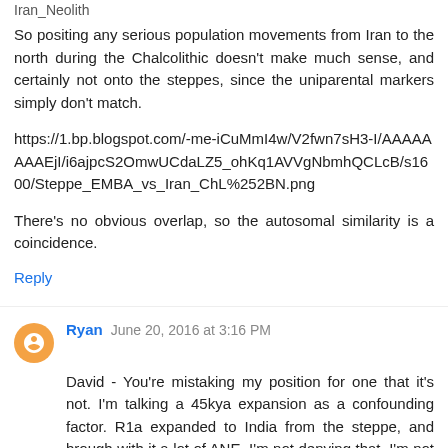Iran_Neolith
So positing any serious population movements from Iran to the north during the Chalcolithic doesn't make much sense, and certainly not onto the steppes, since the uniparental markers simply don't match.
https://1.bp.blogspot.com/-me-iCuMmI4w/V2fwn7sH3-I/AAAAAAAAEjI/i6ajpcS2OmwUCdaLZ5_ohKq1AVVgNbmhQCLcB/s1600/Steppe_EMBA_vs_Iran_ChL%252BN.png
There's no obvious overlap, so the autosomal similarity is a coincidence.
Reply
Ryan  June 20, 2016 at 3:16 PM
David - You're mistaking my position for one that it's not. I'm talking a 45kya expansion as a confounding factor. R1a expanded to India from the steppe, and brough with it a lot of ANE. I'm not denying that. I'm not some OOI zealot. Frankly, at 45kya+, South Asian DNA would probably only